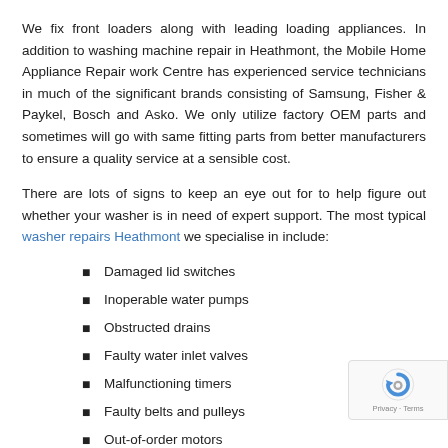We fix front loaders along with leading loading appliances. In addition to washing machine repair in Heathmont, the Mobile Home Appliance Repair work Centre has experienced service technicians in much of the significant brands consisting of Samsung, Fisher & Paykel, Bosch and Asko. We only utilize factory OEM parts and sometimes will go with same fitting parts from better manufacturers to ensure a quality service at a sensible cost.
There are lots of signs to keep an eye out for to help figure out whether your washer is in need of expert support. The most typical washer repairs Heathmont we specialise in include:
Damaged lid switches
Inoperable water pumps
Obstructed drains
Faulty water inlet valves
Malfunctioning timers
Faulty belts and pulleys
Out-of-order motors
Top 5 Simpson Washing Machine Problems and